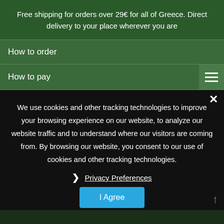Free shipping for orders over 29€ for all of Greece. Direct delivery to your place wherever you are
How to order
How to pay
Return policy
Contact details
+30 2834 022 192 (phone)
+30 2834 022 192
info@cretanthos
b2b@cretanthos.com
We use cookies and other tracking technologies to improve your browsing experience on our website, to analyze our website traffic and to understand where our visitors are coming from. By browsing our website, you consent to our use of cookies and other tracking technologies.
Privacy Preferences
I Agree